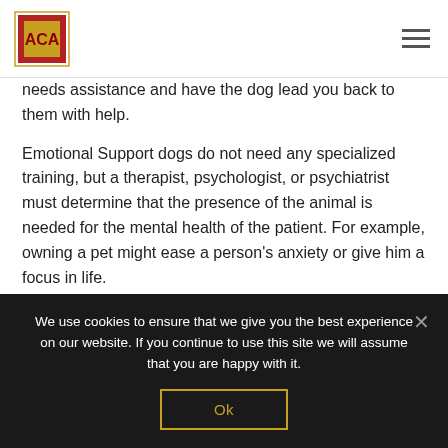AGA logo and hamburger menu
needs assistance and have the dog lead you back to them with help.
Emotional Support dogs do not need any specialized training, but a therapist, psychologist, or psychiatrist must determine that the presence of the animal is needed for the mental health of the patient. For example, owning a pet might ease a person's anxiety or give him a focus in life.
Emotional Support dogs (ESAs) do have certain rights in terms of housing and air travel. The Fair Housing
We use cookies to ensure that we give you the best experience on our website. If you continue to use this site we will assume that you are happy with it.
Ok